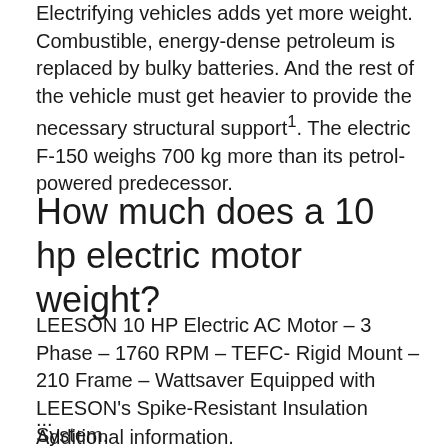Electrifying vehicles adds yet more weight. Combustible, energy-dense petroleum is replaced by bulky batteries. And the rest of the vehicle must get heavier to provide the necessary structural support¹. The electric F-150 weighs 700 kg more than its petrol-powered predecessor.
How much does a 10 hp electric motor weight?
LEESON 10 HP Electric AC Motor – 3 Phase – 1760 RPM – TEFC- Rigid Mount – 210 Frame – Wattsaver Equipped with LEESON's Spike-Resistant Insulation System.
...
Additional information.